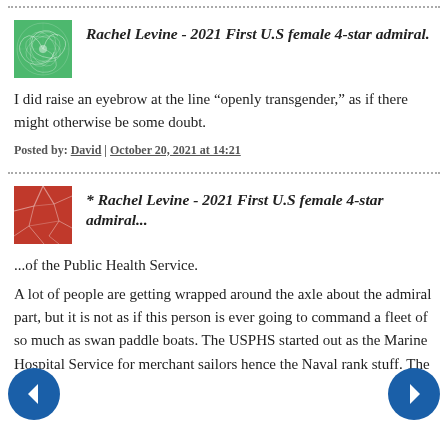[Figure (illustration): Green spiral/flower avatar icon for comment user]
Rachel Levine - 2021 First U.S female 4-star admiral.
I did raise an eyebrow at the line “openly transgender,” as if there might otherwise be some doubt.
Posted by: David | October 20, 2021 at 14:21
[Figure (illustration): Red/pink cracked pattern avatar icon for comment user]
* Rachel Levine - 2021 First U.S female 4-star admiral...
...of the Public Health Service.
A lot of people are getting wrapped around the axle about the admiral part, but it is not as if this person is ever going to command a fleet of so much as swan paddle boats. The USPHS started out as the Marine Hospital Service for merchant sailors hence the Naval rank stuff. The US